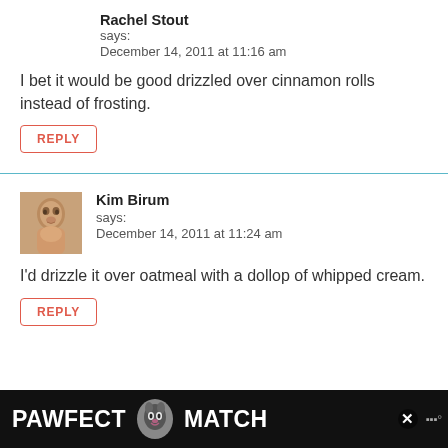Rachel Stout
says:
December 14, 2011 at 11:16 am
I bet it would be good drizzled over cinnamon rolls instead of frosting.
REPLY
Kim Birum
says:
December 14, 2011 at 11:24 am
I'd drizzle it over oatmeal with a dollop of whipped cream.
REPLY
[Figure (infographic): Advertisement banner for PAWFECT MATCH with a cat logo on dark background]